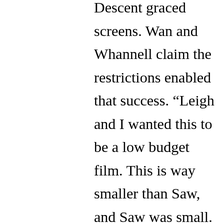Descent graced screens. Wan and Whannell claim the restrictions enabled that success. “Leigh and I wanted this to be a low budget film. This is way smaller than Saw, and Saw was small. I actually find that when you have a finite amount of tools and toys and budget to play around with you actually make a scarier film,” says Wan. Whannell adds, “The difference I saw with James is that with Saw, he was frustrated with the lack of budget because it was preventing him from getting all these shots he had in his head for years. On the set of